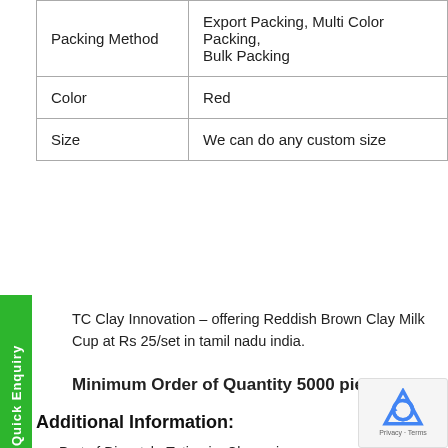| Packing Method | Export Packing, Multi Color Packing, Bulk Packing |
| Color | Red |
| Size | We can do any custom size |
TC Clay Innovation – offering Reddish Brown Clay Milk Cup at Rs 25/set in tamil nadu india.
Minimum Order of Quantity 5000 pieces...!!!
Additional Information:
Port of Dispatch: Tuticorin, Chennai
Delivery Time: 30 - 45 days
Packaging Details: Export Packing, Multi Color Packing, Bulk